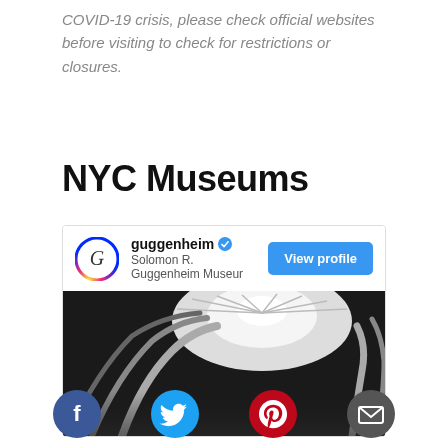COVID-19 crisis, please check official websites before visiting to check for restrictions or closures.
NYC Museums
[Figure (screenshot): Instagram profile card for 'guggenheim' (Solomon R. Guggenheim Museum) with a verified badge, 'View profile' button, and a black-and-white architectural photo of the Guggenheim's interior rotunda skylight.]
[Figure (infographic): Row of four social sharing icon circles: Facebook (blue), Twitter (cyan), Pinterest (red), Email (dark gray).]